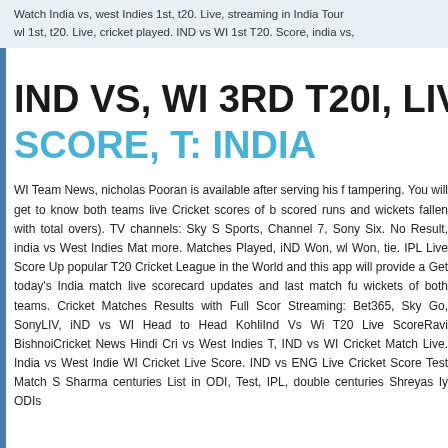Watch India vs, west Indies 1st, t20. Live, streaming in India Tour wl 1st, t20. Live, cricket played. IND vs WI 1st T20. Score, india vs,
IND VS, WI 3RD T20I, LIVE, C
SCORE, T: INDIA
WI Team News, nicholas Pooran is available after serving his f tampering. You will get to know both teams live Cricket scores of b scored runs and wickets fallen with total overs). TV channels: Sky S Sports, Channel 7, Sony Six. No Result, india vs West Indies Mat more. Matches Played, iND Won, wl Won, tie. IPL Live Score Up popular T20 Cricket League in the World and this app will provide a Get today's India match live scorecard updates and last match fu wickets of both teams. Cricket Matches Results with Full Scor Streaming: Bet365, Sky Go, SonyLIV, iND vs WI Head to Head KohliInd Vs Wi T20 Live ScoreRavi BishnoiCricket News Hindi Cri vs West Indies T, IND vs WI Cricket Match Live. India vs West Indie WI Cricket Live Score. IND vs ENG Live Cricket Score Test Match S Sharma centuries List in ODI, Test, IPL, double centuries Shreyas Iy ODIs